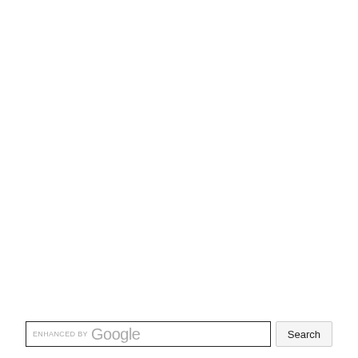[Figure (screenshot): Google custom search bar with 'ENHANCED BY Google' placeholder text in the input field and a 'Search' button to the right. The input box has a dark border. The rest of the page is blank white.]